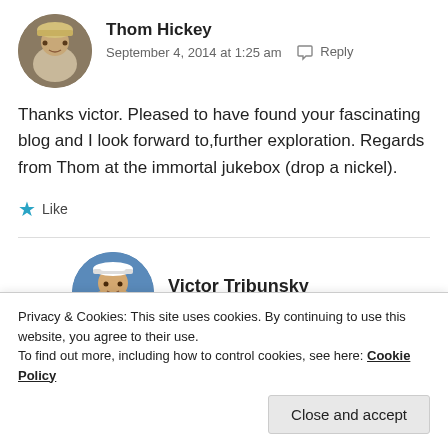[Figure (photo): Circular avatar photo of Thom Hickey, a person wearing a hat outdoors]
Thom Hickey
September 4, 2014 at 1:25 am  Reply
Thanks victor. Pleased to have found your fascinating blog and I look forward to, further exploration. Regards from Thom at the immortal jukebox (drop a nickel).
Like
[Figure (photo): Circular avatar photo of Victor Tribunsky, a person wearing a white captain's hat]
Victor Tribunsky
Privacy & Cookies: This site uses cookies. By continuing to use this website, you agree to their use.
To find out more, including how to control cookies, see here: Cookie Policy
Close and accept